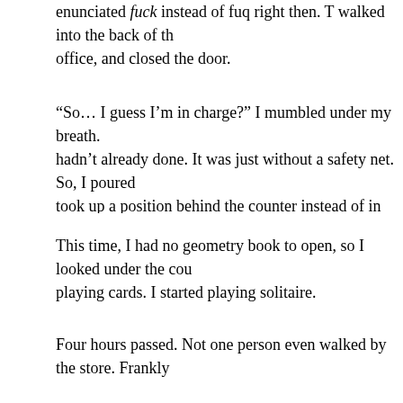enunciated fuck instead of fuq right then. T walked into the back of the office, and closed the door.
“So… I guess I’m in charge?” I mumbled under my breath. hadn’t already done. It was just without a safety net. So, I poured took up a position behind the counter instead of in the corner.
This time, I had no geometry book to open, so I looked under the cou playing cards. I started playing solitaire.
Four hours passed. Not one person even walked by the store. Frankly as well. The sun was high in the sky and, although it was only late M today was going to be a scorcher.
During the solitaire marathon, I’d occasionally hear a clang or a Martin songs.
Then, suddenly, the door to T’s office flew open. It caused a rush the mail slot in the front door as if a giant gust of wind hit the buildin office carrying a banker’s box.